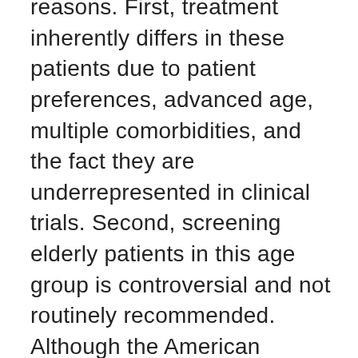reasons. First, treatment inherently differs in these patients due to patient preferences, advanced age, multiple comorbidities, and the fact they are underrepresented in clinical trials. Second, screening elderly patients in this age group is controversial and not routinely recommended. Although the American Cancer Society does not set an upper age limit for screening, the US Preventive Services Task Force and the American College of Physicians do question screening after age 75 years in patients whose prior screening was negative. Thus, limiting our cohort was in keeping with our primary research questions and design aimed at comparing the stages, treatments, and outcomes between populations for whom average-risk screening is and is not routinely